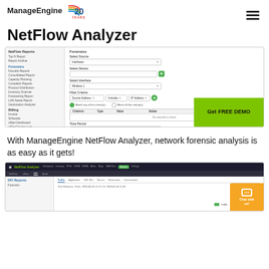[Figure (screenshot): ManageEngine NetFlow Analyzer product logo with '20 YEARS' badge and hamburger menu icon]
NetFlow Analyzer
[Figure (screenshot): NetFlow Analyzer Forensics report configuration UI with sidebar navigation, Select Source/Device/Interface dropdowns, Filter Criteria, Time Period, Business Hour Filter, and Exclude Annotations options. A green 'Get FREE DEMO' button overlays the bottom right.]
With ManageEngine NetFlow Analyzer, network forensic analysis is as easy as it gets!
[Figure (screenshot): NetFlow Analyzer application screenshot showing DFI Reports section with Traffic, Application, URL Hits, Source, Destination, Communities tabs, date range filter, and a Traffic legend. A yellow 'Chat with us!' widget appears bottom right.]